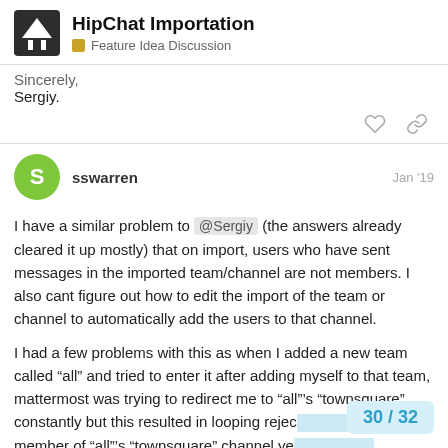HipChat Importation – Feature Idea Discussion
Sincerely,
Sergiy.
sswarren  Jan '19
I have a similar problem to @Sergiy (the answers already cleared it up mostly) that on import, users who have sent messages in the imported team/channel are not members. I also cant figure out how to edit the import of the team or channel to automatically add the users to that channel.

I had a few problems with this as when I added a new team called “all” and tried to enter it after adding myself to that team, mattermost was trying to redirect me to “all”’s “townsquare” constantly but this resulted in looping rejec member of “all”’s “townsquare” channel ye
30 / 32